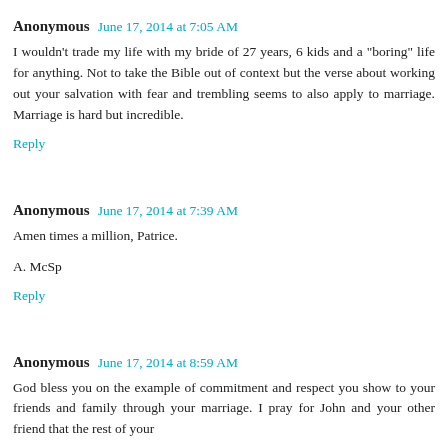Anonymous June 17, 2014 at 7:05 AM
I wouldn't trade my life with my bride of 27 years, 6 kids and a "boring" life for anything. Not to take the Bible out of context but the verse about working out your salvation with fear and trembling seems to also apply to marriage. Marriage is hard but incredible.
Reply
Anonymous June 17, 2014 at 7:39 AM
Amen times a million, Patrice.
A. McSp
Reply
Anonymous June 17, 2014 at 8:59 AM
God bless you on the example of commitment and respect you show to your friends and family through your marriage. I pray for John and your other friend that the rest of your